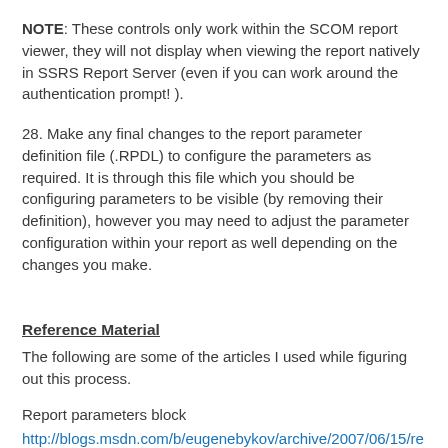NOTE: These controls only work within the SCOM report viewer, they will not display when viewing the report natively in SSRS Report Server (even if you can work around the authentication prompt! ).
28. Make any final changes to the report parameter definition file (.RPDL) to configure the parameters as required. It is through this file which you should be configuring parameters to be visible (by removing their definition), however you may need to adjust the parameter configuration within your report as well depending on the changes you make.
Reference Material
The following are some of the articles I used while figuring out this process.
Report parameters block
http://blogs.msdn.com/b/eugenebykov/archive/2007/06/15/report-parameters-block.aspx